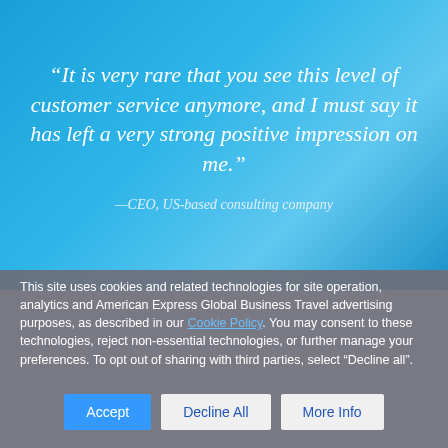“It is very rare that you see this level of customer service anymore, and I must say it has left a very strong positive impression on me.”
—CEO, US-based consulting company
This site uses cookies and related technologies for site operation, analytics and American Express Global Business Travel advertising purposes, as described in our Cookie Policy. You may consent to these technologies, reject non-essential technologies, or further manage your preferences. To opt out of sharing with third parties, select "Decline all".